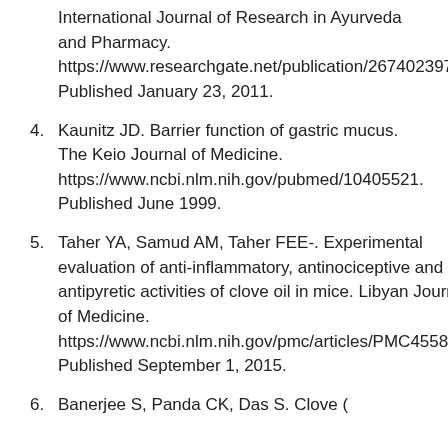Pane M, Deopa N. Clove: A champion spice. International Journal of Research in Ayurveda and Pharmacy. https://www.researchgate.net/publication/267402397_Clove_A_champion_spice. Published January 23, 2011.
4. Kaunitz JD. Barrier function of gastric mucus. The Keio Journal of Medicine. https://www.ncbi.nlm.nih.gov/pubmed/10405521. Published June 1999.
5. Taher YA, Samud AM, Taher FEE-. Experimental evaluation of anti-inflammatory, antinociceptive and antipyretic activities of clove oil in mice. Libyan Journal of Medicine. https://www.ncbi.nlm.nih.gov/pmc/articles/PMC4558274/. Published September 1, 2015.
6. Banerjee S, Panda CK, Das S. Clove (